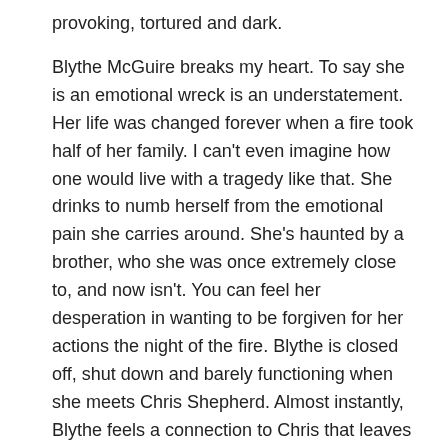provoking, tortured and dark.
Blythe McGuire breaks my heart. To say she is an emotional wreck is an understatement. Her life was changed forever when a fire took half of her family. I can't even imagine how one would live with a tragedy like that. She drinks to numb herself from the emotional pain she carries around. She's haunted by a brother, who she was once extremely close to, and now isn't. You can feel her desperation in wanting to be forgiven for her actions the night of the fire. Blythe is closed off, shut down and barely functioning when she meets Chris Shepherd. Almost instantly, Blythe feels a connection to Chris that leaves her reeling, wanting more, and suddenly… hopeful. Hopeful that she can pull out of her despair and be normal again. Hopeful that she and Chris can become something more.